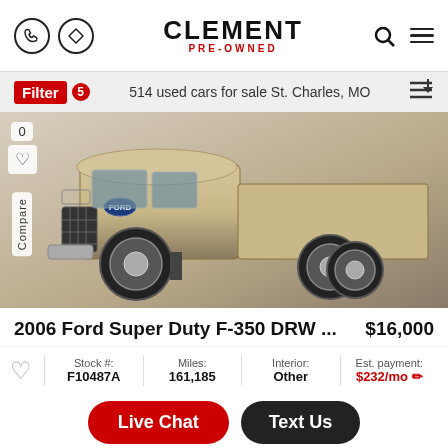CLEMENT PRE-OWNED
Filter 5  514 used cars for sale St. Charles, MO
[Figure (photo): 2006 Ford Super Duty F-350 DRW truck, tan/gold color, viewed from front-left angle, lifted with large wheels]
2006 Ford Super Duty F-350 DRW ...  $16,000
| Stock #: | Miles: | Interior: | Est. payment: |
| --- | --- | --- | --- |
| F10487A | 161,185 | Other | $232/mo |
Live Chat
Text Us
31